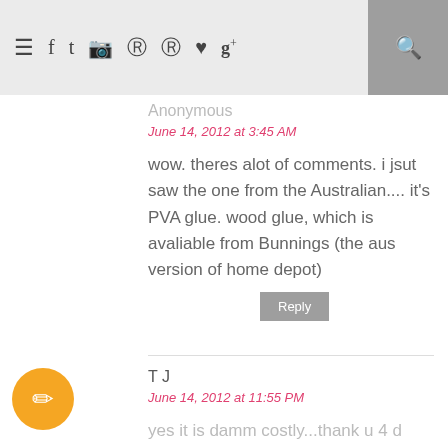≡ f t [instagram] [pinterest] [pinterest] ♥ g+ [search]
Anonymous
June 14, 2012 at 3:45 AM
wow. theres alot of comments. i jsut saw the one from the Australian.... it's PVA glue. wood glue, which is avaliable from Bunnings (the aus version of home depot)
Reply
T J
June 14, 2012 at 11:55 PM
yes it is damm costly...thank u 4 d great idea!!!